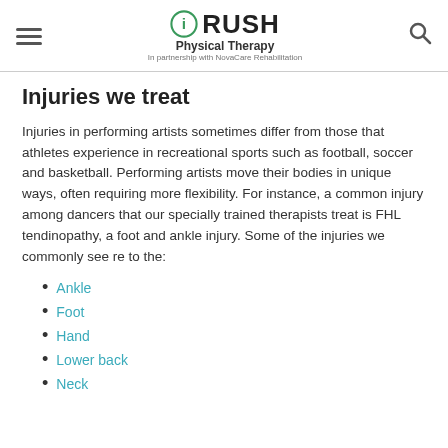RUSH Physical Therapy — In partnership with NovaCare Rehabilitation
Injuries we treat
Injuries in performing artists sometimes differ from those that athletes experience in recreational sports such as football, soccer and basketball. Performing artists move their bodies in unique ways, often requiring more flexibility. For instance, a common injury among dancers that our specially trained therapists treat is FHL tendinopathy, a foot and ankle injury. Some of the injuries we commonly see re to the:
Ankle
Foot
Hand
Lower back
Neck